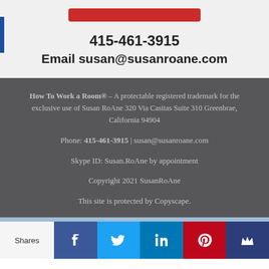415-461-3915
Email susan@susanroane.com
How To Work a Room® – A protectable registered trademark for the exclusive use of Susan RoAne 320 Via Casitas Suite 310 Greenbrae, California 94904
Phone: 415-461-3915 | susan@susanroane.com
Skype ID: Susan.RoAne by appointment
Copyright 2021 SusanRoAne
This site is protected by Copyscape.
Shares